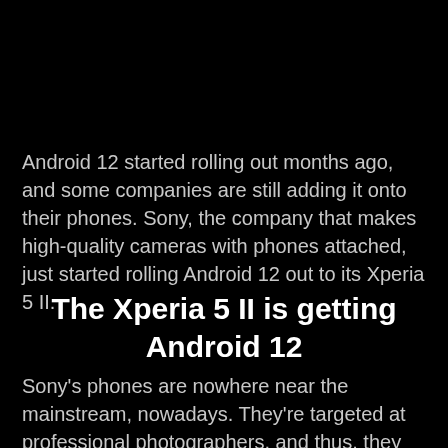Android 12 started rolling out months ago, and some companies are still adding it onto their phones. Sony, the company that makes high-quality cameras with phones attached, just started rolling Android 12 out to its Xperia 5 II.
The Xperia 5 II is getting Android 12
Sony's phones are nowhere near the mainstream, nowadays. They're targeted at professional photographers, and thus, they are rather expensive. People mostly give Apple and Samsung a hard time